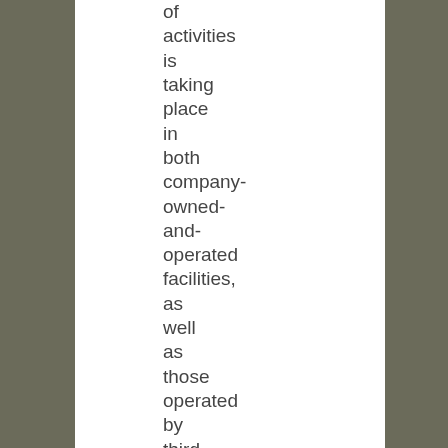of activities is taking place in both company-owned-and-operated facilities, as well as those operated by third parties.

The variety